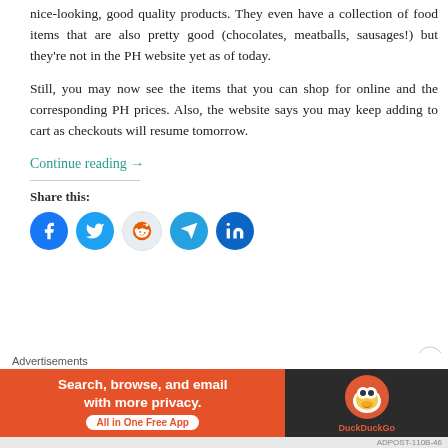nice-looking, good quality products. They even have a collection of food items that are also pretty good (chocolates, meatballs, sausages!) but they're not in the PH website yet as of today.
Still, you may now see the items that you can shop for online and the corresponding PH prices. Also, the website says you may keep adding to cart as checkouts will resume tomorrow.
Continue reading →
Share this:
[Figure (infographic): Social share buttons: Facebook, Twitter, Reddit, Telegram, LinkedIn]
Advertisements
[Figure (infographic): DuckDuckGo advertisement banner: Search, browse, and email with more privacy. All in One Free App]